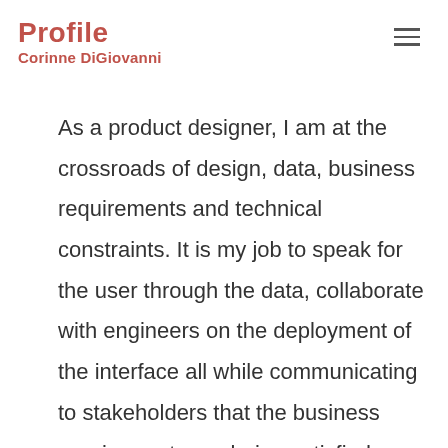Profile
Corinne DiGiovanni
As a product designer, I am at the crossroads of design, data, business requirements and technical constraints. It is my job to speak for the user through the data, collaborate with engineers on the deployment of the interface all while communicating to stakeholders that the business requirements are being satisfied. What I love most about my job is